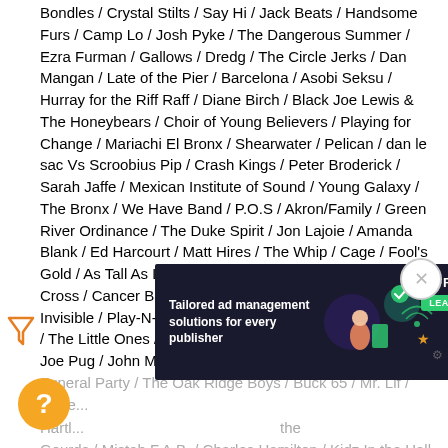Bondles / Crystal Stilts / Say Hi / Jack Beats / Handsome Furs / Camp Lo / Josh Pyke / The Dangerous Summer / Ezra Furman / Gallows / Dredg / The Circle Jerks / Dan Mangan / Late of the Pier / Barcelona / Asobi Seksu / Hurray for the Riff Raff / Diane Birch / Black Joe Lewis & The Honeybears / Choir of Young Believers / Playing for Change / Mariachi El Bronx / Shearwater / Pelican / dan le sac Vs Scroobius Pip / Crash Kings / Peter Broderick / Sarah Jaffe / Mexican Institute of Sound / Young Galaxy / The Bronx / We Have Band / P.O.S / Akron/Family / Green River Ordinance / The Duke Spirit / Jon Lajoie / Amanda Blank / Ed Harcourt / Matt Hires / The Whip / Cage / Fool's Gold / As Tall As Lions / Buraka Som Sistema / Alberta Cross / Cancer Bats / Cotton Jones / Jason Reeves / The Invisible / Play-N-Skillz / Mayer Hawthorne and The County / The Little Ones / 8ball & MJG / Laura Jansen / AC Slater / Joe Pug / John Mulaney / Tina Dico / The Spinto Band / Funeral Party / The Oak Ridge Boys / Buck 65 / Mr. Lif / Harlem... Hartl... the Gourds / Mistah F.A.B. / Charles Hamilton / Kidz In the Hall /
[Figure (infographic): Advertisement banner for Freestar: dark background with text 'Tailored ad management solutions for every publisher', green 'LEARN MORE' button, decorative graphic with person and tech elements, Freestar logo with star icon, and a close (X) button in the top right corner.]